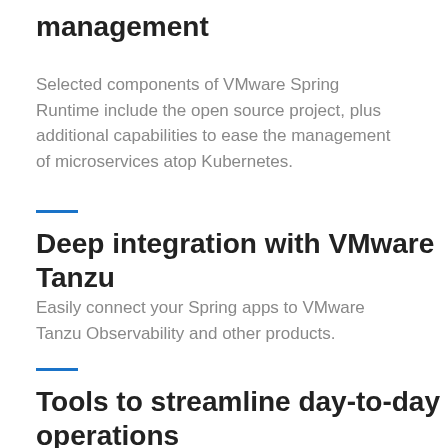management
Selected components of VMware Spring Runtime include the open source project, plus additional capabilities to ease the management of microservices atop Kubernetes.
Deep integration with VMware Tanzu
Easily connect your Spring apps to VMware Tanzu Observability and other products.
Tools to streamline day-to-day operations